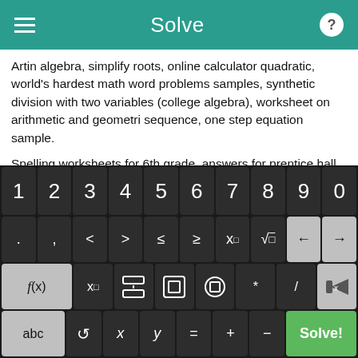Solve
Artin algebra, simplify roots, online calculator quadratic, world's hardest math word problems samples, synthetic division with two variables (college algebra), worksheet on arithmetic and geometri sequence, one step equation sample.
Spelling worksheets for 6th grade, answers for prentice hall chemistry chapter 11, Grade 7, Ontario, canada, free printouts, free algebra worksheets and answers, how to find the square root of fractions variables.
[Figure (screenshot): On-screen math keyboard with number row (1-0), symbol row (. , < > ≤ ≥ x□ √□ ← →), function row (f(x), x□, fraction, absolute value, parentheses, *, /, backspace), and bottom row (abc, ↺, x, y, =, +, −, Solve! green button)]